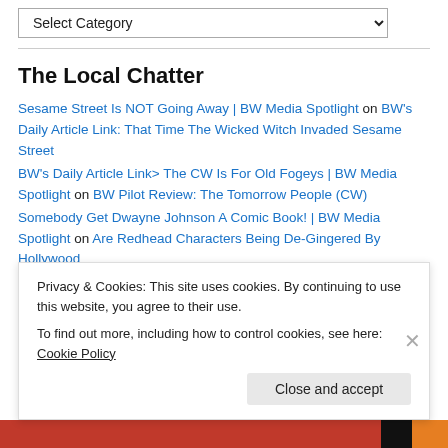[Figure (other): Dropdown select input labeled 'Select Category' with a chevron/arrow on the right]
The Local Chatter
Sesame Street Is NOT Going Away | BW Media Spotlight on BW's Daily Article Link: That Time The Wicked Witch Invaded Sesame Street
BW's Daily Article Link> The CW Is For Old Fogeys | BW Media Spotlight on BW Pilot Review: The Tomorrow People (CW)
Somebody Get Dwayne Johnson A Comic Book! | BW Media Spotlight on Are Redhead Characters Being De-Gingered By Hollywood
Somebody Get Dwayne Johnson A Comic Book! | BW Media Spotlight on Billy Batson as played by Tom Hanks!
Privacy & Cookies: This site uses cookies. By continuing to use this website, you agree to their use.
To find out more, including how to control cookies, see here: Cookie Policy
Close and accept